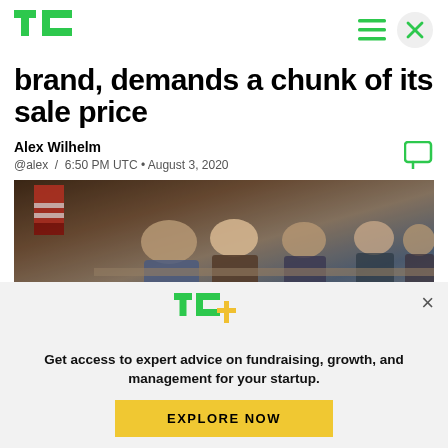TechCrunch header with logo, hamburger menu, and close button
brand, demands a chunk of its sale price
Alex Wilhelm
@alex / 6:50 PM UTC • August 3, 2020
[Figure (photo): Group of people seated at a conference table with an American flag in the background]
[Figure (logo): TechCrunch TC+ logo]
Get access to expert advice on fundraising, growth, and management for your startup.
EXPLORE NOW